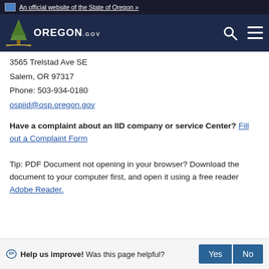An official website of the State of Oregon »
[Figure (logo): Oregon.gov logo with tree and state seal icon on dark navy background, with search and menu icons]
3565 Trelstad Ave SE
Salem, OR 97317
Phone: 503-934-0180
ospiid@osp.oregon.gov
Have a complaint about an IID company or service Center? Fill out a Complaint Form
Tip: PDF Document not opening in your browser? Download the document to your computer first, and open it using a free reader Adobe Reader.
Help us improve! Was this page helpful? Yes No